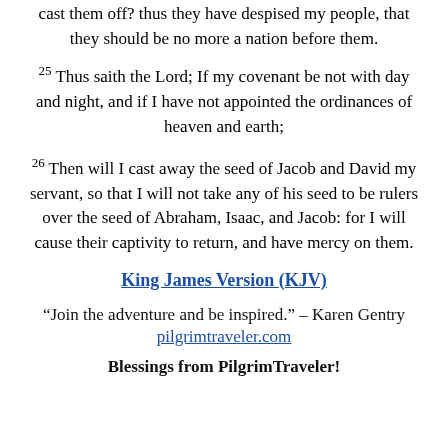cast them off? thus they have despised my people, that they should be no more a nation before them.
25 Thus saith the Lord; If my covenant be not with day and night, and if I have not appointed the ordinances of heaven and earth;
26 Then will I cast away the seed of Jacob and David my servant, so that I will not take any of his seed to be rulers over the seed of Abraham, Isaac, and Jacob: for I will cause their captivity to return, and have mercy on them.
King James Version (KJV)
“Join the adventure and be inspired.” – Karen Gentry
pilgrimtraveler.com
Blessings from PilgrimTraveler!